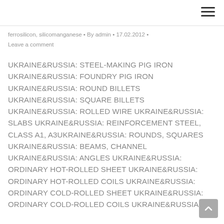ferrosilicon, silicomanganese · By admin · 17.02.2012 · Leave a comment
UKRAINE&RUSSIA: STEEL-MAKING PIG IRON UKRAINE&RUSSIA: FOUNDRY PIG IRON UKRAINE&RUSSIA: ROUND BILLETS UKRAINE&RUSSIA: SQUARE BILLETS UKRAINE&RUSSIA: ROLLED WIRE UKRAINE&RUSSIA: SLABS UKRAINE&RUSSIA: REINFORCEMENT STEEL, CLASS A1, A3UKRAINE&RUSSIA: ROUNDS, SQUARES UKRAINE&RUSSIA: BEAMS, CHANNEL UKRAINE&RUSSIA: ANGLES UKRAINE&RUSSIA: ORDINARY HOT-ROLLED SHEET UKRAINE&RUSSIA: ORDINARY HOT-ROLLED COILS UKRAINE&RUSSIA: ORDINARY COLD-ROLLED SHEET UKRAINE&RUSSIA: ORDINARY COLD-ROLLED COILS UKRAINE&RUSSIA: